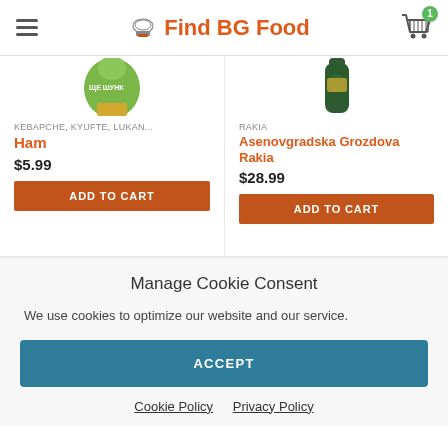Find BG Food
[Figure (screenshot): Partially visible product image - green bottle top (Kyufte/Lukan product)]
[Figure (screenshot): Partially visible product image - dark green bottle (Rakia)]
KEBAPCHE, KYUFTE, LUKAN...
Ham
$5.99
ADD TO CART
RAKIA
Asenovgradska Grozdova Rakia
$28.99
ADD TO CART
Manage Cookie Consent
We use cookies to optimize our website and our service.
ACCEPT
Cookie Policy   Privacy Policy